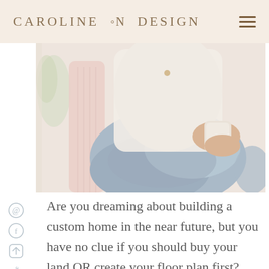CAROLINE ON DESIGN
[Figure (photo): A woman sitting casually, wearing light blue jeans and a cream/white top, holding a white jar or candle, photographed from the shoulders down. The background is bright and airy with soft natural lighting.]
Are you dreaming about building a custom home in the near future, but you have no clue if you should buy your land OR create your floor plan first?